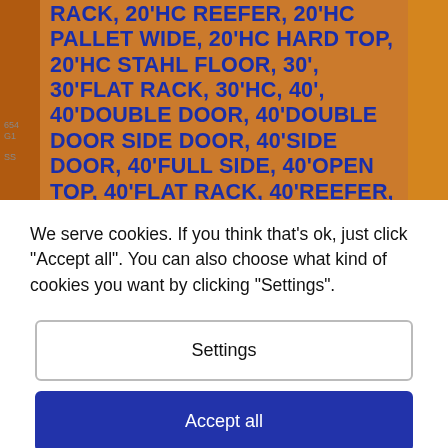[Figure (screenshot): Background image of shipping containers with bold blue text listing container types including RACK, 20'HC REEFER, 20'HC PALLET WIDE, 20'HC HARD TOP, 20'HC STAHL FLOOR, 30', 30'FLAT RACK, 30'HC, 40', 40'DOUBLE DOOR, 40'DOUBLE DOOR SIDE DOOR, 40'SIDE DOOR, 40'FULL SIDE, 40'OPEN TOP, 40'FLAT RACK, 40'REEFER, 40'PALLET WIDE, 40'HARD TOP, 40'STAHL FLOOR, 40'HC, 40'HC DOUBLE DOOR, 40'HC DOUBLE DOOR SIDE DOOR, 40'HC SIDE]
We serve cookies. If you think that's ok, just click "Accept all". You can also choose what kind of cookies you want by clicking "Settings".